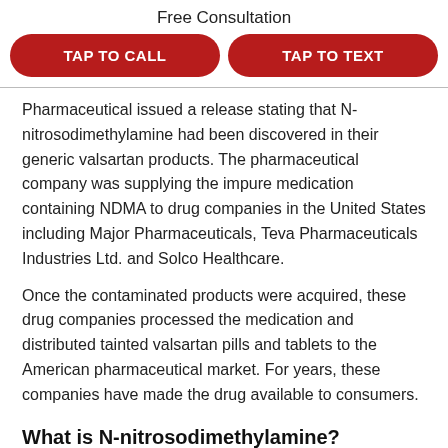Free Consultation
[Figure (other): Two red pill-shaped buttons: TAP TO CALL and TAP TO TEXT]
Pharmaceutical issued a release stating that N-nitrosodimethylamine had been discovered in their generic valsartan products. The pharmaceutical company was supplying the impure medication containing NDMA to drug companies in the United States including Major Pharmaceuticals, Teva Pharmaceuticals Industries Ltd. and Solco Healthcare.
Once the contaminated products were acquired, these drug companies processed the medication and distributed tainted valsartan pills and tablets to the American pharmaceutical market. For years, these companies have made the drug available to consumers.
What is N-nitrosodimethylamine?